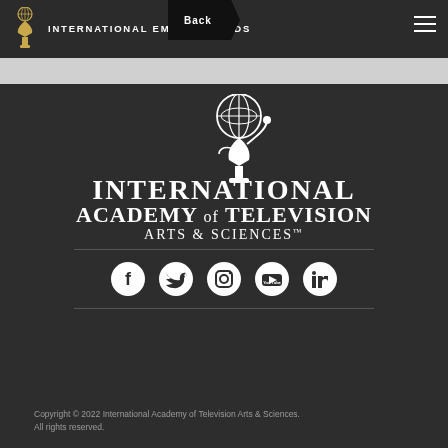INTERNATIONAL EMMY® AWARDS
[Figure (logo): International Academy of Television Arts & Sciences logo with Emmy statuette and text]
[Figure (infographic): Social media icons row: Facebook, Twitter, Instagram, YouTube, LinkedIn]
Copyright © 2022 International Academy of Television Arts & Sciences. All rights reserved.